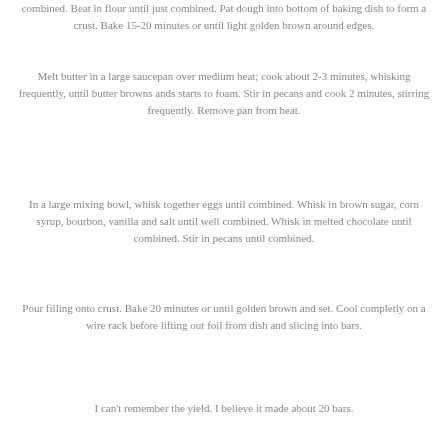combined. Beat in flour until just combined. Pat dough into bottom of baking dish to form a crust. Bake 15-20 minutes or until light golden brown around edges.
Melt butter in a large saucepan over medium heat; cook about 2-3 minutes, whisking frequently, until butter browns ands starts to foam. Stir in pecans and cook 2 minutes, stirring frequently. Remove pan from heat.
In a large mixing bowl, whisk together eggs until combined. Whisk in brown sugar, corn syrup, bourbon, vanilla and salt until well combined. Whisk in melted chocolate until combined. Stir in pecans until combined.
Pour filling onto crust. Bake 20 minutes or until golden brown and set. Cool completly on a wire rack before lifting out foil from dish and slicing into bars.
I can't remember the yield. I believe it made about 20 bars.